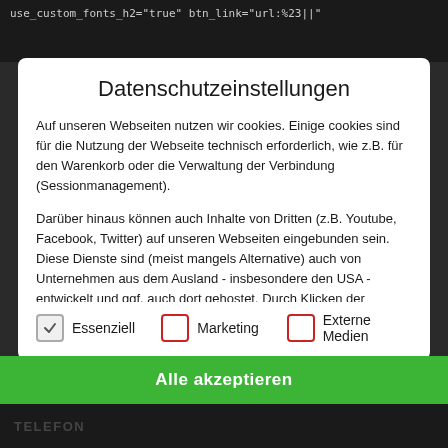use_custom_fonts_h2="true" btn_link="url:%23||"
Datenschutzeinstellungen
Auf unseren Webseiten nutzen wir cookies. Einige cookies sind für die Nutzung der Webseite technisch erforderlich, wie z.B. für den Warenkorb oder die Verwaltung der Verbindung (Sessionmanagement).
Darüber hinaus können auch Inhalte von Dritten (z.B. Youtube, Facebook, Twitter) auf unseren Webseiten eingebunden sein. Diese Dienste sind (meist mangels Alternative) auch von Unternehmen aus dem Ausland - insbesondere den USA - entwickelt und ggf. auch dort gehostet. Durch Klicken der Schaltfläche "Nur notwendige Cookies akzeptieren" widersprechen Sie der Nutzung dieser Dienste. Durch anklicken von "Ich akzeptiere" willigen sie hingegen zugleich
Essenziell   Marketing   Externe Medien
Alle akzeptieren
TELEFON